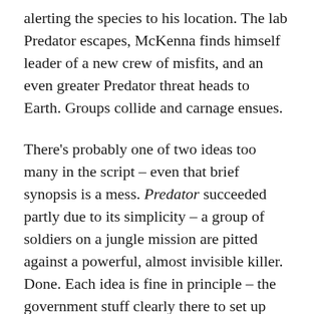alerting the species to his location. The lab Predator escapes, McKenna finds himself leader of a new crew of misfits, and an even greater Predator threat heads to Earth. Groups collide and carnage ensues.
There's probably one of two ideas too many in the script – even that brief synopsis is a mess. Predator succeeded partly due to its simplicity – a group of soldiers on a jungle mission are pitted against a powerful, almost invisible killer. Done. Each idea is fine in principle – the government stuff clearly there to set up further Aliens crossovers, the DNA stuff enhances the lore, the family stuff is good for character building and humour, and the 'super' Predator vs regular Predator thread furthers some of the mythology uncovered in Predators. Thrown altogether, along with the various different characters and it's a boiling stew too hot for